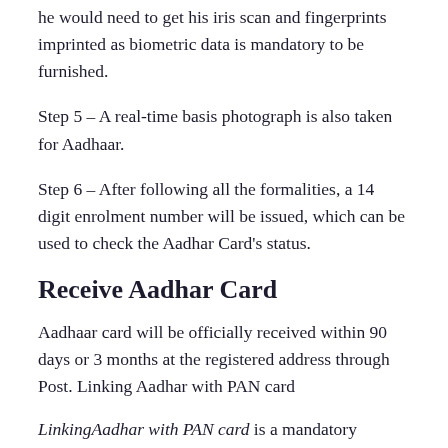he would need to get his iris scan and fingerprints imprinted as biometric data is mandatory to be furnished.
Step 5 – A real-time basis photograph is also taken for Aadhaar.
Step 6 – After following all the formalities, a 14 digit enrolment number will be issued, which can be used to check the Aadhar Card's status.
Receive Aadhar Card
Aadhaar card will be officially received within 90 days or 3 months at the registered address through Post. Linking Aadhar with PAN card
LinkingAadhar with PAN card is a mandatory